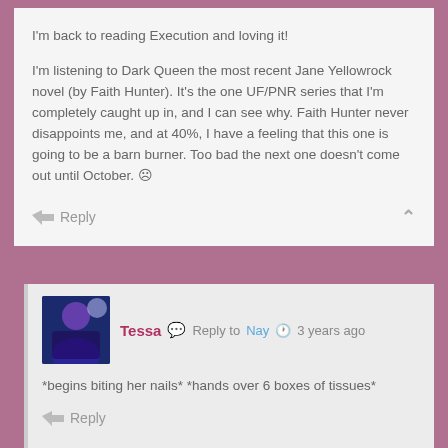I'm back to reading Execution and loving it!
I'm listening to Dark Queen the most recent Jane Yellowrock novel (by Faith Hunter). It's the one UF/PNR series that I'm completely caught up in, and I can see why. Faith Hunter never disappoints me, and at 40%, I have a feeling that this one is going to be a barn burner. Too bad the next one doesn't come out until October. ☹
Reply
Tessa Reply to Nay 3 years ago
*begins biting her nails* *hands over 6 boxes of tissues*
Reply